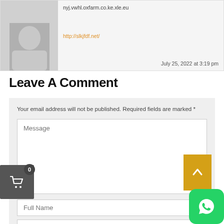nyj.vwhl.oxfarm.co.ke.xle.eu
http://slkjfdf.net/
July 25, 2022 at 3:19 pm
Leave A Comment
Your email address will not be published. Required fields are marked *
Message
Full Name
Your Email Address